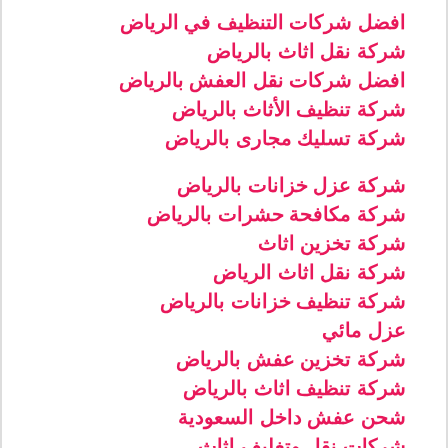افضل شركات التنظيف في الرياض
شركة نقل اثاث بالرياض
افضل شركات نقل العفش بالرياض
شركة تنظيف الأثاث بالرياض
شركة تسليك مجارى بالرياض
شركة عزل خزانات بالرياض
شركة مكافحة حشرات بالرياض
شركة تخزين اثاث
شركة نقل اثاث الرياض
شركة تنظيف خزانات بالرياض
عزل مائي
شركة تخزين عفش بالرياض
شركة تنظيف اثاث بالرياض
شحن عفش داخل السعودية
شركات نقل وتغليف اثاث
شركة تنظيف واجهات زجاج بالرياض